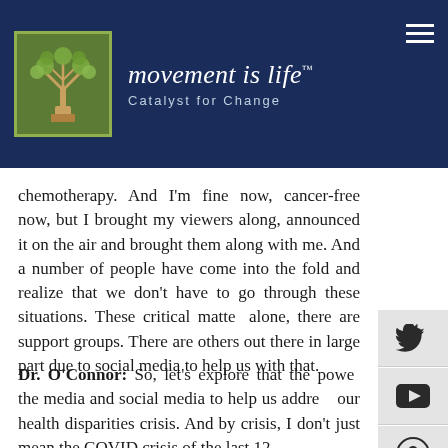movement is life™ — Catalyst for Change
chemotherapy. And I'm fine now, cancer-free now, but I brought my viewers along, announced it on the air and brought them along with me. And a number of people have come into the fold and realize that we don't have to go through these situations. These critical matters alone, there are support groups. There are others out there in large part due to social media to help us with that.
Dr. O'Connor: So, let's explore that the power of the media and social media to help us address our health disparities crisis. And by crisis, I don't just mean the COVID crisis of the last 12